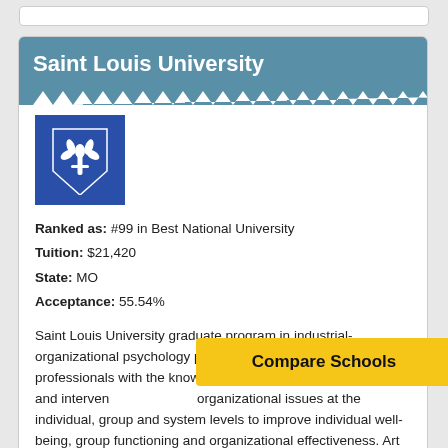Saint Louis University
[Figure (logo): Saint Louis University shield logo — white fleur-de-lis on blue background]
Ranked as: #99 in Best National University
Tuition: $21,420
State: MO
Acceptance: 55.54%
Saint Louis University graduate program in industrial-organizational psychology prepares doctoral-level professionals with the knowledge, assessment skills and intervention... organizational issues at the individual, group and system levels to improve individual well-being, group functioning and organizational effectiveness. Art History, Criticism and Conservation requires that students